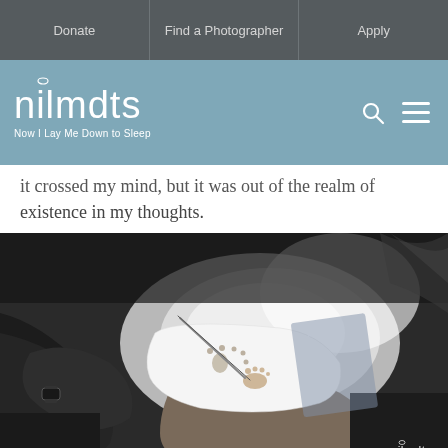Donate | Find a Photographer | Apply
[Figure (logo): nilmdts - Now I Lay Me Down to Sleep logo on blue-grey background with search and menu icons]
it crossed my mind, but it was out of the realm of existence in my thoughts.
[Figure (photo): Black and white photograph of adult hands holding a small memorial card with a baby's footprint, with a baby's foot visible on the card. A nilmdts watermark appears in the lower right corner.]